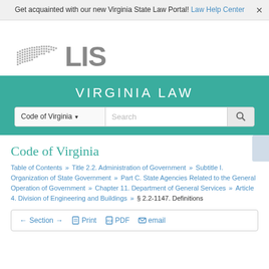Get acquainted with our new Virginia State Law Portal! Law Help Center
[Figure (logo): LIS (Legislative Information System) logo with Virginia state outline made of dots and large 'LIS' text in gray]
VIRGINIA LAW
Code of Virginia ▾  Search
Code of Virginia
Table of Contents » Title 2.2. Administration of Government » Subtitle I. Organization of State Government » Part C. State Agencies Related to the General Operation of Government » Chapter 11. Department of General Services » Article 4. Division of Engineering and Buildings » § 2.2-1147. Definitions
← Section → Print PDF email